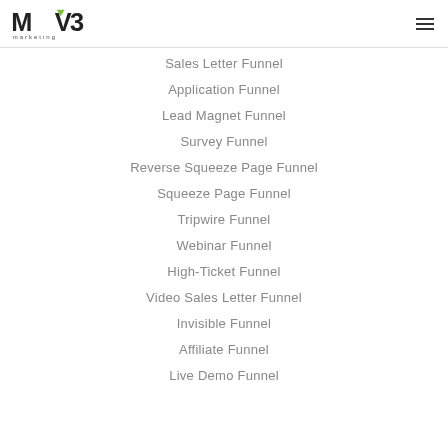MV3 marketing
Sales Letter Funnel
Application Funnel
Lead Magnet Funnel
Survey Funnel
Reverse Squeeze Page Funnel
Squeeze Page Funnel
Tripwire Funnel
Webinar Funnel
High-Ticket Funnel
Video Sales Letter Funnel
Invisible Funnel
Affiliate Funnel
Live Demo Funnel